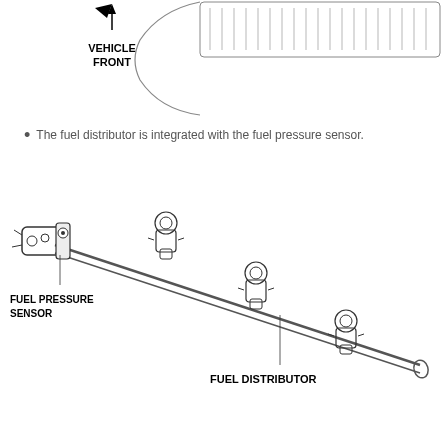[Figure (engineering-diagram): Top portion of a vehicle engine diagram showing 'VEHICLE FRONT' label with an arrow and engine components in cross-section view.]
The fuel distributor is integrated with the fuel pressure sensor.
[Figure (engineering-diagram): Fuel rail assembly diagram showing the fuel distributor (a long rail with four fuel injectors attached) and the fuel pressure sensor integrated at one end. Labels point to 'FUEL PRESSURE SENSOR' and 'FUEL DISTRIBUTOR'.]